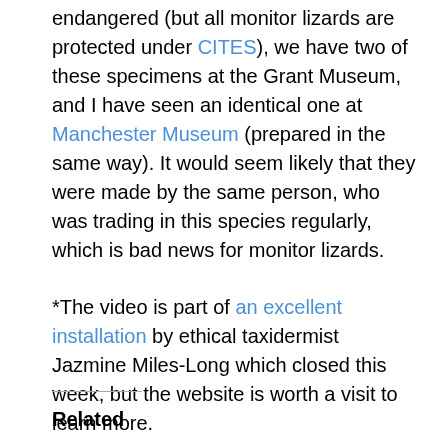endangered (but all monitor lizards are protected under CITES), we have two of these specimens at the Grant Museum, and I have seen an identical one at Manchester Museum (prepared in the same way). It would seem likely that they were made by the same person, who was trading in this species regularly, which is bad news for monitor lizards.
*The video is part of an excellent installation by ethical taxidermist Jazmine Miles-Long which closed this week, but the website is worth a visit to learn more.
Jack Ashby is the Manager of the Grant Museum of Zoology
Related